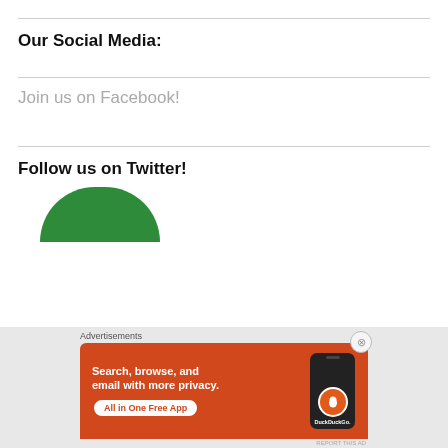Our Social Media:
Join us on Facebook!
Follow us on Twitter!
[Figure (illustration): Green circle/avatar partially cropped at bottom]
Advertisements
[Figure (screenshot): DuckDuckGo advertisement banner: Search, browse, and email with more privacy. All in One Free App. Shows DuckDuckGo app on phone.]